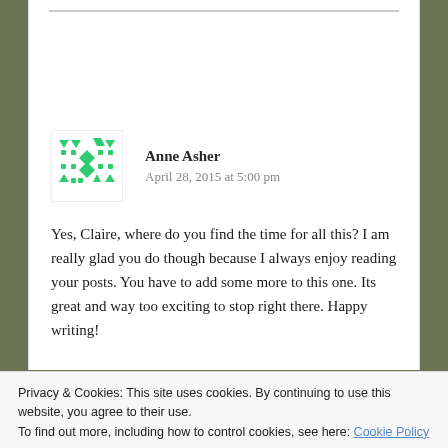[Figure (illustration): Green pixel/geometric avatar icon for user Anne Asher]
Anne Asher
April 28, 2015 at 5:00 pm
Yes, Claire, where do you find the time for all this? I am really glad you do though because I always enjoy reading your posts. You have to add some more to this one. Its great and way too exciting to stop right there. Happy writing!
Privacy & Cookies: This site uses cookies. By continuing to use this website, you agree to their use.
To find out more, including how to control cookies, see here: Cookie Policy
Close and accept